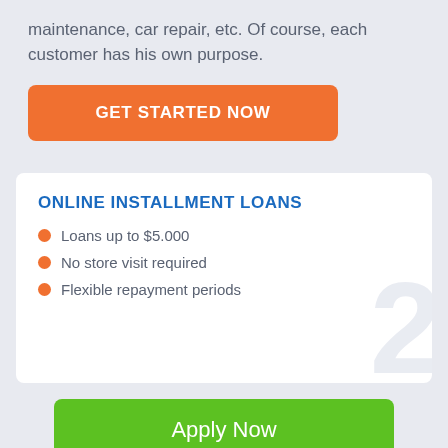maintenance, car repair, etc. Of course, each customer has his own purpose.
[Figure (other): Orange button with text GET STARTED NOW]
ONLINE INSTALLMENT LOANS
Loans up to $5.000
No store visit required
Flexible repayment periods
[Figure (other): Green button with text Apply Now]
Applying does NOT affect your credit score!
No credit check to apply.